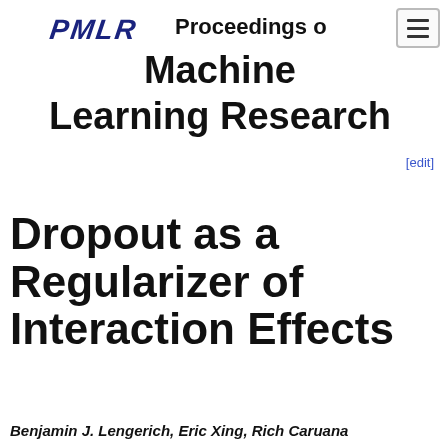PMLR Proceedings of Machine Learning Research
Dropout as a Regularizer of Interaction Effects
Benjamin J. Lengerich, Eric Xing, Rich Caruana